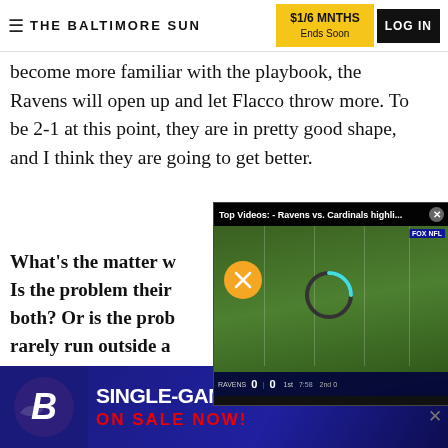THE BALTIMORE SUN | $1/6 MNTHS Ends Soon | LOG IN
become more familiar with the playbook, the Ravens will open up and let Flacco throw more. To be 2-1 at this point, they are in pretty good shape, and I think they are going to get better.
What's the matter w... Is the problem their... both? Or is the prob... rarely run outside a... Mark, Pasadena
[Figure (screenshot): Video overlay showing Ravens vs. Cardinals football game on Fox NFL. Score 0-0, 1st quarter 7:58. Muted icon visible (orange circle with mute symbol). Loading spinner visible. Scoreboard at bottom.]
ADVERTISEMENT
ADVERTISEMENT
[Figure (illustration): Baltimore Ravens advertisement: Single-Game Tickets On Sale Now! Features Ravens logo on left and bold white text with red subtitle on dark blue/purple background.]